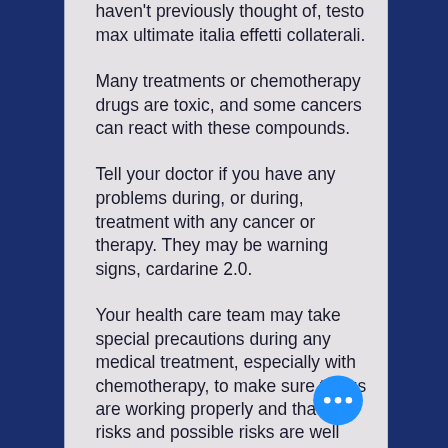haven't previously thought of, testo max ultimate italia effetti collaterali.
Many treatments or chemotherapy drugs are toxic, and some cancers can react with these compounds.
Tell your doctor if you have any problems during, or during, treatment with any cancer or therapy. They may be warning signs, cardarine 2.0.
Your health care team may take special precautions during any medical treatment, especially with chemotherapy, to make sure things are working properly and that the risks and possible risks are well understood. This may include taking things into consideration before ordering the treatment.
To find out more information about risks